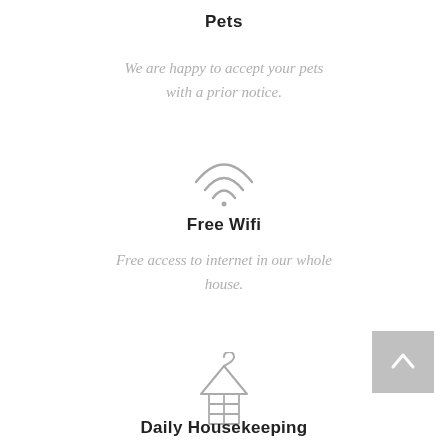Pets
We are happy to accept your pets with a prior notice.
[Figure (illustration): WiFi signal icon — three curved arcs above a dot, centered on page]
Free Wifi
Free access to internet in our whole house.
[Figure (illustration): Clothing hanger with towels/fabric draped over it, centered on page]
Daily Housekeeping